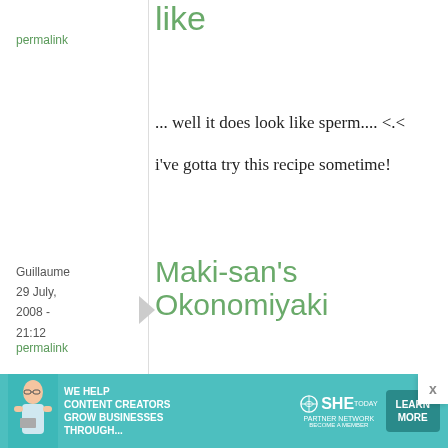permalink
does look like
... well it does look like sperm.... <.<

i've gotta try this recipe sometime!
Guillaume
29 July, 2008 - 21:12
permalink
Maki-san's Okonomiyaki
Maki - 美味しそう!!
[Figure (infographic): SHE Media Partner Network advertisement banner with woman and learn more button]